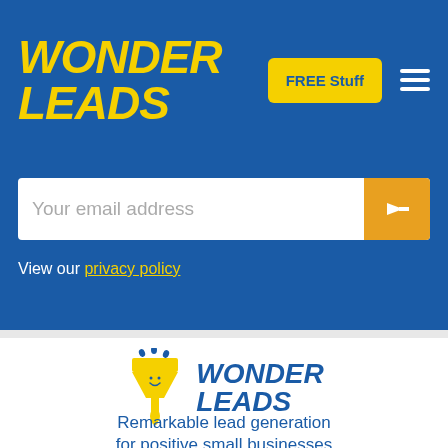WONDER LEADS
[Figure (screenshot): Wonder Leads website header with yellow logo text on blue background, FREE Stuff yellow button, and hamburger menu icon]
Your email address
View our privacy policy
[Figure (logo): Wonder Leads logo - yellow funnel mascot with smiley face and blue WONDER LEADS text]
Remarkable lead generation for positive small businesses